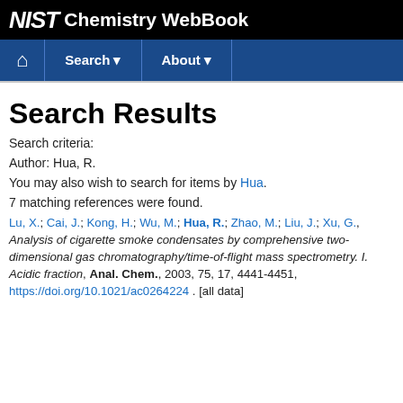NIST Chemistry WebBook
Search Results
Search criteria:
Author: Hua, R.
You may also wish to search for items by Hua.
7 matching references were found.
Lu, X.; Cai, J.; Kong, H.; Wu, M.; Hua, R.; Zhao, M.; Liu, J.; Xu, G., Analysis of cigarette smoke condensates by comprehensive two-dimensional gas chromatography/time-of-flight mass spectrometry. I. Acidic fraction, Anal. Chem., 2003, 75, 17, 4441-4451, https://doi.org/10.1021/ac0264224 . [all data]